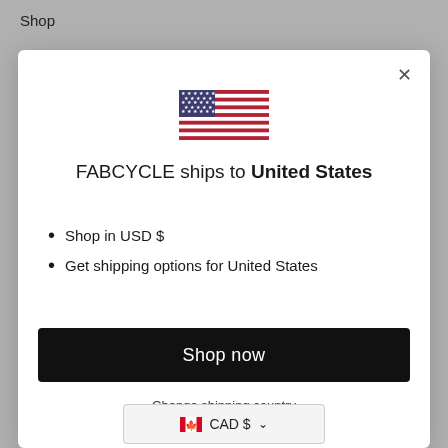Shop
[Figure (illustration): A modal dialog box showing a US flag icon at the top, title text 'FABCYCLE ships to United States', two bullet points about USD and shipping options, a black 'Shop now' button, and a 'Change shipping country' link. Below the modal is a currency selector showing 'CAD $' with a Canadian flag icon and dropdown chevron.]
FABCYCLE ships to United States
Shop in USD $
Get shipping options for United States
Shop now
Change shipping country
CAD $